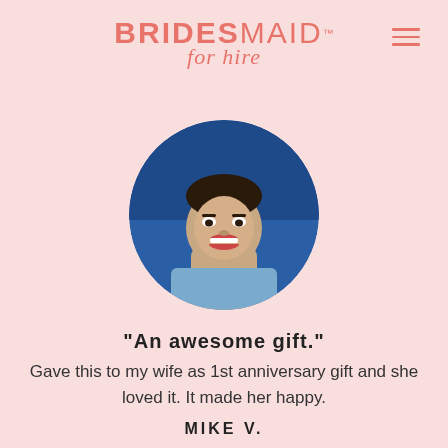BRIDESMAID for hire
[Figure (photo): Circular profile photo of a smiling young Asian man wearing a denim shirt, photographed against a blue background.]
"An awesome gift." Gave this to my wife as 1st anniversary gift and she loved it. It made her happy.
MIKE V.